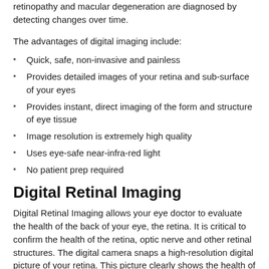retinopathy and macular degeneration are diagnosed by detecting changes over time.
The advantages of digital imaging include:
Quick, safe, non-invasive and painless
Provides detailed images of your retina and sub-surface of your eyes
Provides instant, direct imaging of the form and structure of eye tissue
Image resolution is extremely high quality
Uses eye-safe near-infra-red light
No patient prep required
Digital Retinal Imaging
Digital Retinal Imaging allows your eye doctor to evaluate the health of the back of your eye, the retina. It is critical to confirm the health of the retina, optic nerve and other retinal structures. The digital camera snaps a high-resolution digital picture of your retina. This picture clearly shows the health of your eyes and is